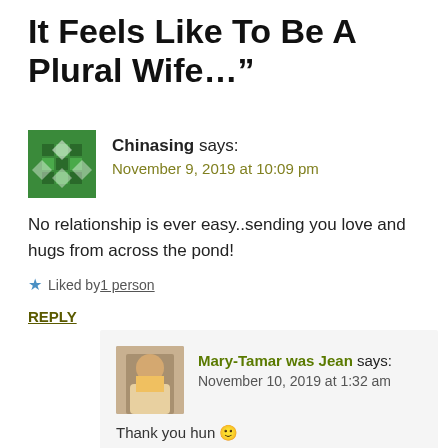It Feels Like To Be A Plural Wife…”
Chinasing says:
November 9, 2019 at 10:09 pm
No relationship is ever easy..sending you love and hugs from across the pond!
Liked by 1 person
REPLY
Mary-Tamar was Jean says:
November 10, 2019 at 1:32 am
Thank you hun 🙂